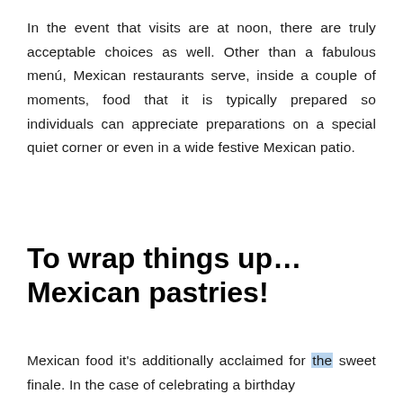In the event that visits are at noon, there are truly acceptable choices as well. Other than a fabulous menú, Mexican restaurants serve, inside a couple of moments, food that it is typically prepared so individuals can appreciate preparations on a special quiet corner or even in a wide festive Mexican patio.
To wrap things up… Mexican pastries!
Mexican food it's additionally acclaimed for the sweet finale. In the case of celebrating a birthday